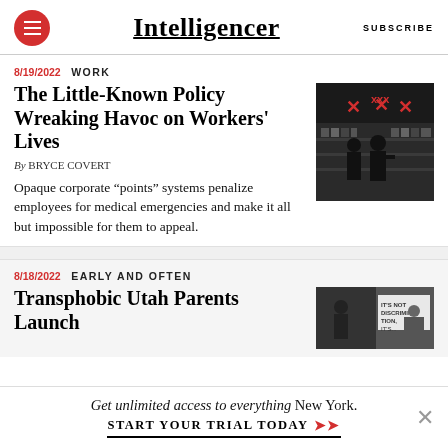Intelligencer
8/19/2022  WORK
The Little-Known Policy Wreaking Havoc on Workers' Lives
By BRYCE COVERT
Opaque corporate “points” systems penalize employees for medical emergencies and make it all but impossible for them to appeal.
[Figure (photo): Black and white photo of people in a store with red X marks overlaid]
8/18/2022  EARLY AND OFTEN
Transphobic Utah Parents Launch
[Figure (photo): Photo showing a sign related to discrimination]
Get unlimited access to everything New York.
START YOUR TRIAL TODAY